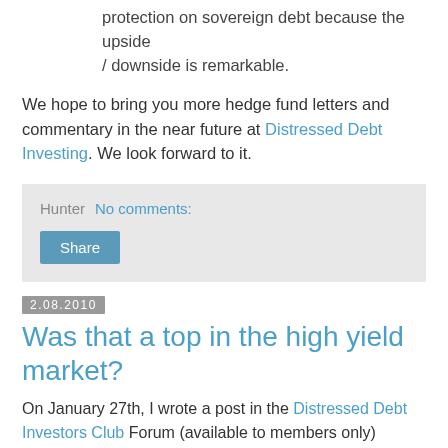protection on sovereign debt because the upside / downside is remarkable.
We hope to bring you more hedge fund letters and commentary in the near future at Distressed Debt Investing. We look forward to it.
Hunter   No comments:
Share
2.08.2010
Was that a top in the high yield market?
On January 27th, I wrote a post in the Distressed Debt Investors Club Forum (available to members only) entitled: "Top?" in which I commented that if the Ryerson's discount note offering, that was used to fund a dividend to Platinum equity, priced to yield a little over 16% was not excessive, then I really do not know what is.